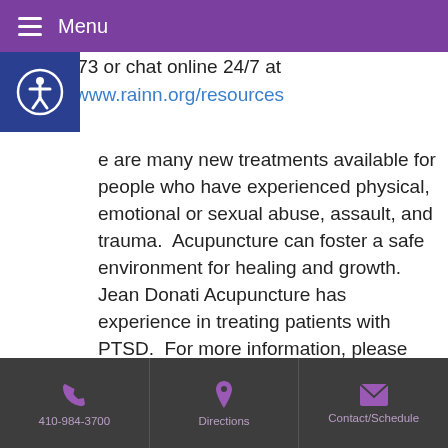Menu
656-4673 or chat online 24/7 at https://www.rainn.org/resources
There are many new treatments available for people who have experienced physical, emotional or sexual abuse, assault, and trauma. Acupuncture can foster a safe environment for healing and growth. Jean Donati Acupuncture has experience in treating patients with PTSD. For more information, please call 410-984-3700 for a confidential discussion.
410-984-3700 | Directions | Contact/Schedule